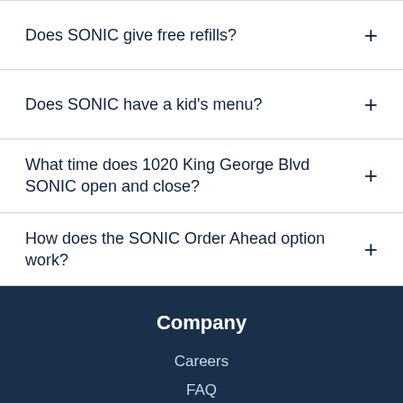Does SONIC give free refills?
Does SONIC have a kid's menu?
What time does 1020 King George Blvd SONIC open and close?
How does the SONIC Order Ahead option work?
Company
Careers
FAQ
Contact Us
Franchise
Corporate